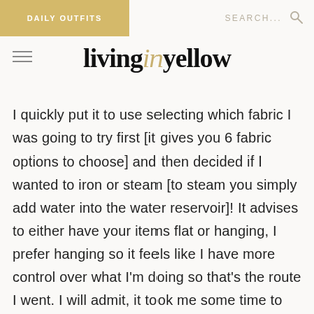DAILY OUTFITS   SEARCH...
livinginyellow
I quickly put it to use selecting which fabric I was going to try first [it gives you 6 fabric options to choose] and then decided if I wanted to iron or steam [to steam you simply add water into the water reservoir]! It advises to either have your items flat or hanging, I prefer hanging so it feels like I have more control over what I'm doing so that's the route I went. I will admit, it took me some time to get comfortable with